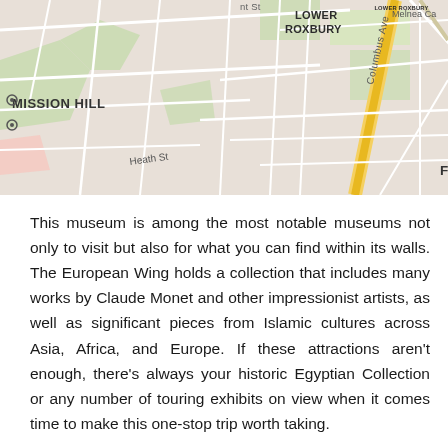[Figure (map): Street map showing neighborhoods including Mission Hill, Lower Roxbury, and Fort Hill in Boston, with Columbus Ave running diagonally and Malcolm X Blvd visible.]
This museum is among the most notable museums not only to visit but also for what you can find within its walls. The European Wing holds a collection that includes many works by Claude Monet and other impressionist artists, as well as significant pieces from Islamic cultures across Asia, Africa, and Europe. If these attractions aren't enough, there's always your historic Egyptian Collection or any number of touring exhibits on view when it comes time to make this one-stop trip worth taking.